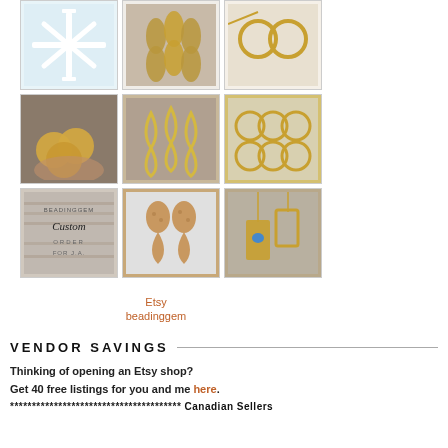[Figure (photo): 3x3 grid of jewelry/craft product photos: snowflake mold, leaf earrings, gold circle earrings, wood coins in hand, gold teardrop connectors, pumpkin charms, custom order card, cork teardrop earrings, gold pendant necklace]
Etsy
beadinggem
VENDOR SAVINGS
Thinking of opening an Etsy shop?
Get 40 free listings for you and me here.
*************************************** Canadian Sellers